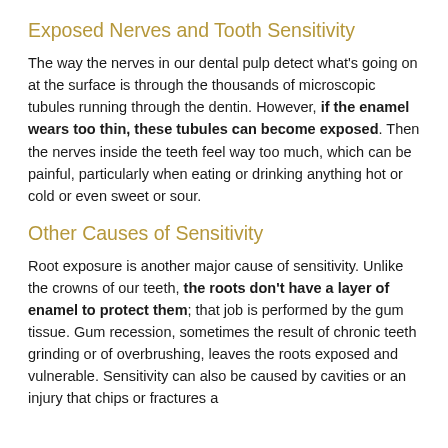Exposed Nerves and Tooth Sensitivity
The way the nerves in our dental pulp detect what's going on at the surface is through the thousands of microscopic tubules running through the dentin. However, if the enamel wears too thin, these tubules can become exposed. Then the nerves inside the teeth feel way too much, which can be painful, particularly when eating or drinking anything hot or cold or even sweet or sour.
Other Causes of Sensitivity
Root exposure is another major cause of sensitivity. Unlike the crowns of our teeth, the roots don't have a layer of enamel to protect them; that job is performed by the gum tissue. Gum recession, sometimes the result of chronic teeth grinding or of overbrushing, leaves the roots exposed and vulnerable. Sensitivity can also be caused by cavities or an injury that chips or fractures a